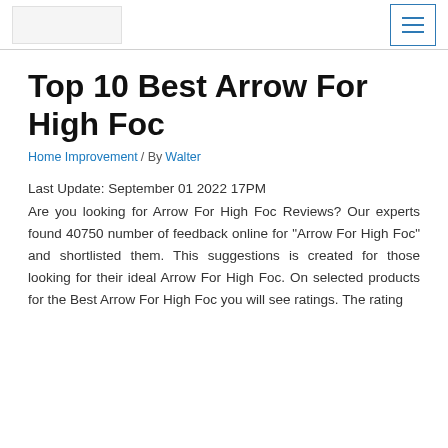[logo] [menu button]
Top 10 Best Arrow For High Foc
Home Improvement / By Walter
Last Update: September 01 2022 17PM
Are you looking for Arrow For High Foc Reviews? Our experts found 40750 number of feedback online for "Arrow For High Foc" and shortlisted them. This suggestions is created for those looking for their ideal Arrow For High Foc. On selected products for the Best Arrow For High Foc you will see ratings. The rating